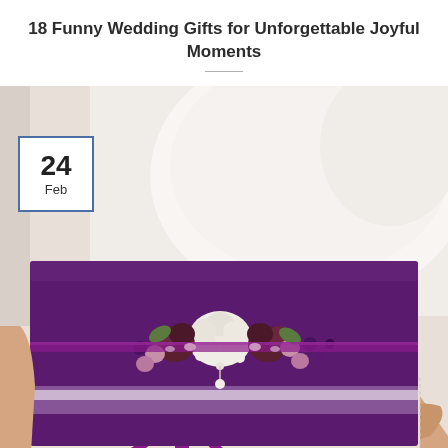18 Funny Wedding Gifts for Unforgettable Joyful Moments
[Figure (photo): A woman in a white lace dress holding elegant purple gift boxes decorated with floral arrangements and satin ribbons. A date badge showing '24 Feb' overlays the top-left of the image.]